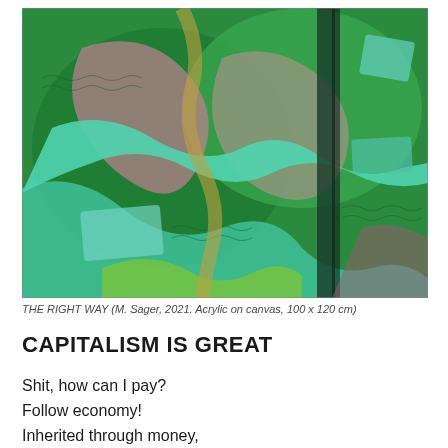[Figure (illustration): Abstract painting with swirling organic forms in shades of green, teal, pink, and dark colors on canvas. Flowing ribbon-like shapes and textured wave patterns create a dynamic composition.]
THE RIGHT WAY (M. Sager, 2021. Acrylic on canvas, 100 x 120 cm)
CAPITALISM IS GREAT
Shit, how can I pay?
Follow economy!
Inherited through money,
approved by aristocracy,